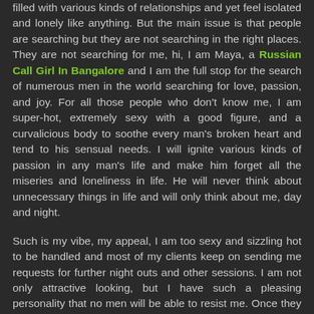filled with various kinds of relationships and yet feel isolated and lonely like anything. But the main issue is that people are searching but they are not searching in the right places. They are not searching for me, hi, I am Maya, a Russian Call Girl In Bangalore and I am the full stop for the search of numerous men in the world searching for love, passion, and joy. For all those people who don't know me, I am super-hot, extremely sexy with a good figure, and a curvalicious body to soothe every man's broken heart and tend to his sensual needs. I will ignite various kinds of passion in any man's life and make him forget all the miseries and loneliness in life. He will never think about unnecessary things in life and will only think about me, day and night.
Such is my vibe, my appeal, I am too sexy and sizzling hot to be handled and most of my clients keep on sending me requests for further night outs and other sessions. I am not only attractive looking, but I have such a pleasing personality that no men will be able to resist me. Once they lay their eyes on me, they start to think about only meeting me and spending all their time with me. I talk to them just like their best...